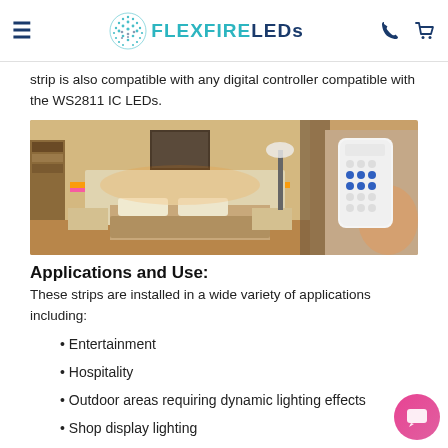FLEXFIRE LEDs navigation header
strip is also compatible with any digital controller compatible with the WS2811 IC LEDs.
[Figure (photo): Bedroom interior with LED strip lighting in warm orange and pink colors along the headboard and under the bed, with a person holding a white remote control in the foreground right.]
Applications and Use:
These strips are installed in a wide variety of applications including:
Entertainment
Hospitality
Outdoor areas requiring dynamic lighting effects
Shop display lighting